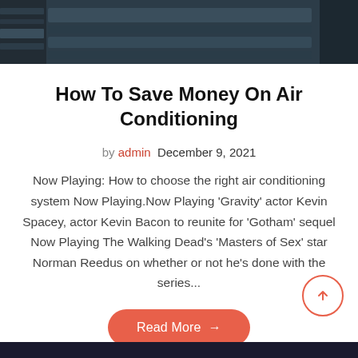[Figure (photo): Dark photo of an industrial or indoor ceiling/machinery area, partial view at top of page]
How To Save Money On Air Conditioning
by admin  December 9, 2021
Now Playing: How to choose the right air conditioning system Now Playing.Now Playing 'Gravity' actor Kevin Spacey, actor Kevin Bacon to reunite for 'Gotham' sequel Now Playing The Walking Dead's 'Masters of Sex' star Norman Reedus on whether or not he's done with the series...
Read More →